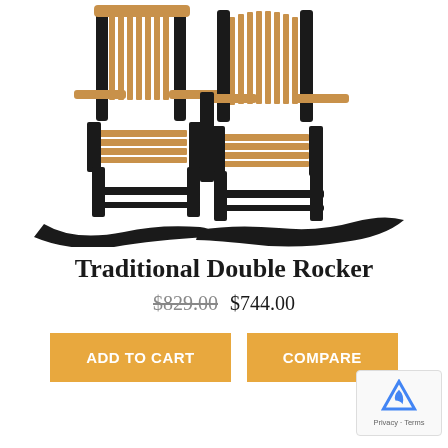[Figure (photo): A traditional double rocking chair with brown/tan slatted back and seat, dark black frame and rockers, viewed from a slight front angle on white background.]
Traditional Double Rocker
$829.00 $744.00
ADD TO CART
COMPARE